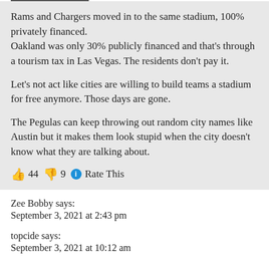Rams and Chargers moved in to the same stadium, 100% privately financed.
Oakland was only 30% publicly financed and that's through a tourism tax in Las Vegas. The residents don't pay it.

Let's not act like cities are willing to build teams a stadium for free anymore. Those days are gone.

The Pegulas can keep throwing out random city names like Austin but it makes them look stupid when the city doesn't know what they are talking about.
👍 44 👎 9 ℹ Rate This
Zee Bobby says:
September 3, 2021 at 2:43 pm
topcide says:
September 3, 2021 at 10:12 am